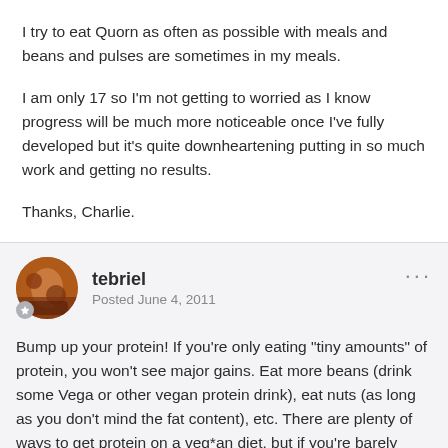I try to eat Quorn as often as possible with meals and beans and pulses are sometimes in my meals.
I am only 17 so I'm not getting to worried as I know progress will be much more noticeable once I've fully developed but it's quite downheartening putting in so much work and getting no results.
Thanks, Charlie.
tebriel
Posted June 4, 2011
Bump up your protein! If you're only eating "tiny amounts" of protein, you won't see major gains. Eat more beans (drink some Vega or other vegan protein drink), eat nuts (as long as you don't mind the fat content), etc. There are plenty of ways to get protein on a veg*an diet, but if you're barely getting any, expect